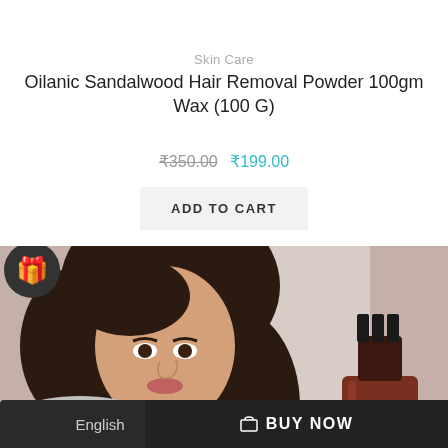Skin Care
Oilanic Sandalwood Hair Removal Powder 100gm Wax (100 G)
₹350.00  ₹199.00
ADD TO CART
[Figure (photo): Woman with long dark hair next to a product bottle (hair/skin care product). A gift emoji icon overlays the top-left corner. A scroll-up arrow button appears bottom-right.]
BUY NOW
English